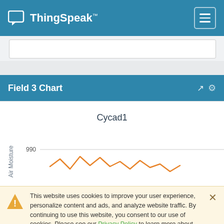ThingSpeak™
Field 3 Chart
[Figure (continuous-plot): Line chart showing Air Moisture values around 990, with an orange wavy line indicating fluctuating moisture readings labeled Cycad1.]
This website uses cookies to improve your user experience, personalize content and ads, and analyze website traffic. By continuing to use this website, you consent to our use of cookies. Please see our Privacy Policy to learn more about cookies and how to change your settings.